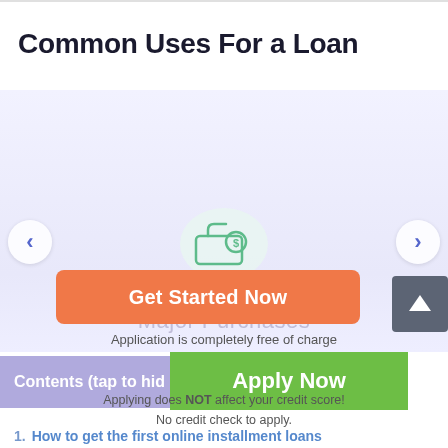Common Uses For a Loan
[Figure (illustration): Carousel slide showing a money bag / tag icon with a dollar sign, labeled 'Major Purchases'. Navigation arrows on left and right sides.]
Get Started Now
Application is completely free of charge
Contents (tap to hide
Apply Now
Applying does NOT affect your credit score!
No credit check to apply.
1.  How to get the first online installment loans